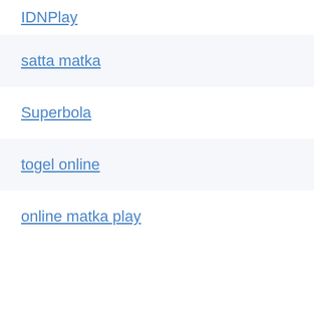IDNPlay
satta matka
Superbola
togel online
online matka play